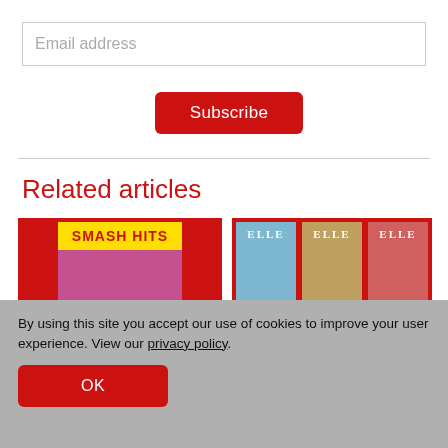Email address
Subscribe
Related articles
[Figure (photo): Magazine cover: Smash Hits featuring Derry Girls — NEWS]
[Figure (photo): Magazine cover collage: Elle magazine, EVERYONE'S GAME — NEWS]
By using this site you accept our use of cookies to improve your user experience. View our privacy policy.
OK